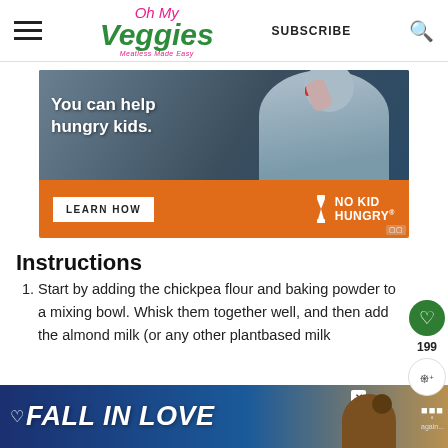Oh My Veggies — Meatless Made Easy | SUBSCRIBE
[Figure (photo): No Kid Hungry advertisement banner showing a child eating with text 'You can help hungry kids.' and an orange bottom section with 'LEARN HOW' button and No Kid Hungry logo.]
Instructions
Start by adding the chickpea flour and baking powder to a mixing bowl. Whisk them together well, and then add the almond milk (or any other plantbased milk
[Figure (photo): Bottom advertisement banner with 'FALL IN LOVE' text and a dog image on a blue/gold background.]